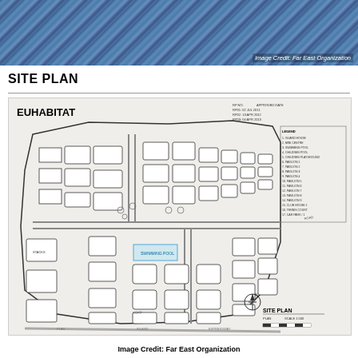[Figure (photo): Aerial/close-up photo of a swimming pool with blue water tiles, partially showing a wooden deck edge]
Image Credit: Far East Organization
SITE PLAN
[Figure (engineering-diagram): Architectural site plan for EUHABITAT development showing building layouts, roads, swimming pool, and landscaping with legend and north arrow. Scale 1:500. Includes revision dates.]
Image Credit: Far East Organization